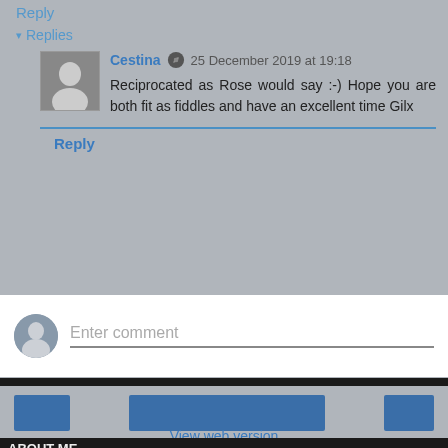Reply
▾ Replies
Cestina 25 December 2019 at 19:18
Reciprocated as Rose would say :-) Hope you are both fit as fiddles and have an excellent time Gilx
Reply
Enter comment
View web version
ABOUT ME